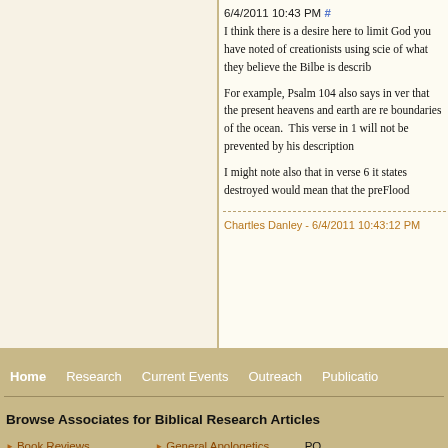6/4/2011 10:43 PM #
I think there is a desire here to limit God you have noted of creationists using scie of what they believe the Bilbe is describ
For example, Psalm 104 also says in ver that the present heavens and earth are re boundaries of the ocean. This verse in 1 will not be prevented by his description
I might note also that in verse 6 it states destroyed would mean that the preFlood
Chartles Danley - 6/4/2011 10:43:12 PM
Home   Research   Current Events   Outreach   Publication
Browse Associates for Biblical Research Articles
Book Reviews
Conquest of Canaan
General Apologetics
Investigating Origins